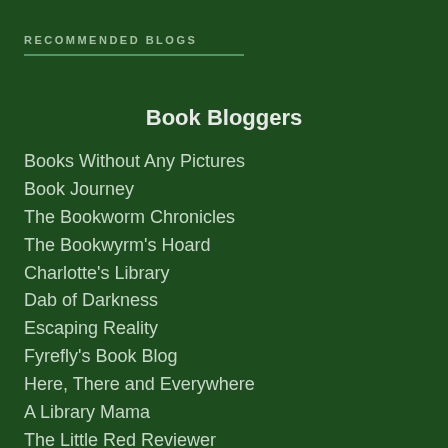RECOMMENDED BLOGS
Book Bloggers
Books Without Any Pictures
Book Journey
The Bookworm Chronicles
The Bookwyrm's Hoard
Charlotte's Library
Dab of Darkness
Escaping Reality
Fyrefly's Book Blog
Here, There and Everywhere
A Library Mama
The Little Red Reviewer
Lynn E. O'Connacht
Lynn's Book Blog